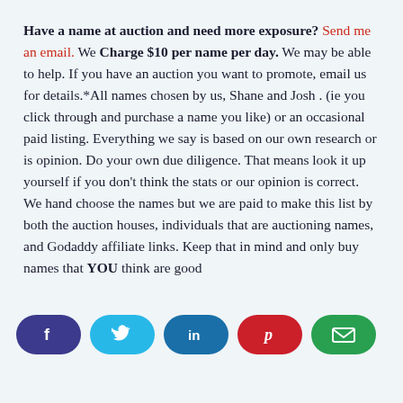Have a name at auction and need more exposure? Send me an email. We Charge $10 per name per day. We may be able to help. If you have an auction you want to promote, email us for details.*All names chosen by us, Shane and Josh . (ie you click through and purchase a name you like) or an occasional paid listing. Everything we say is based on our own research or is opinion. Do your own due diligence. That means look it up yourself if you don't think the stats or our opinion is correct. We hand choose the names but we are paid to make this list by both the auction houses, individuals that are auctioning names, and Godaddy affiliate links. Keep that in mind and only buy names that YOU think are good
[Figure (infographic): Row of five social sharing buttons: Facebook (dark purple), Twitter (light blue), LinkedIn (dark blue), Pinterest (red), Email (green), each with an icon centered on a pill-shaped button.]